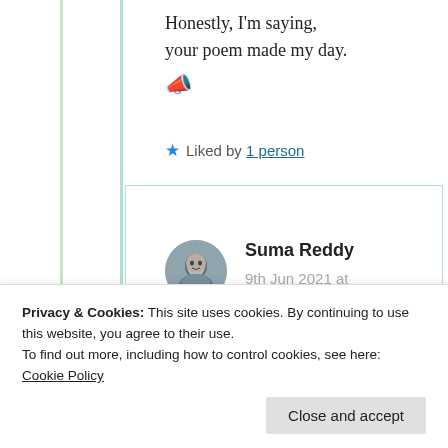Honestly, I'm saying,
your poem made my day.
★ Liked by 1 person
Suma Reddy
9th Jun 2021 at 1:13 pm
Privacy & Cookies: This site uses cookies. By continuing to use this website, you agree to their use.
To find out more, including how to control cookies, see here: Cookie Policy
Close and accept